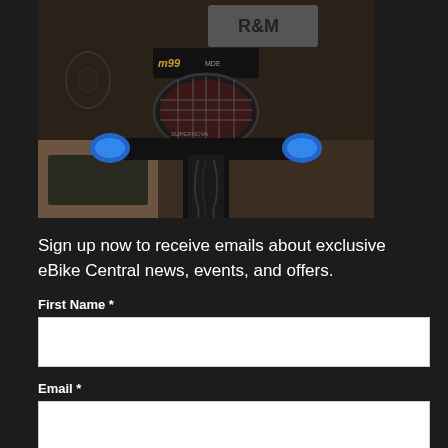[Figure (photo): Close-up photo of an electric bicycle (e-bike) front end showing handlebars, a round headlight with grid/mesh cover, blue handlebar grips, dark fork tubes, and cables. The bike appears to be in a bike shop with wooden floors visible in background. The bike has 'R&M' branding visible and 'm99' model text on the headlight unit.]
Sign up now to receive emails about exclusive eBike Central news, events, and offers.
First Name *
Email *